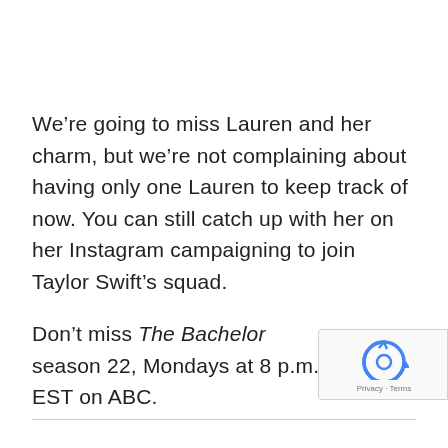We're going to miss Lauren and her charm, but we're not complaining about having only one Lauren to keep track of now. You can still catch up with her on her Instagram campaigning to join Taylor Swift's squad.
Don't miss The Bachelor season 22, Mondays at 8 p.m. EST on ABC.